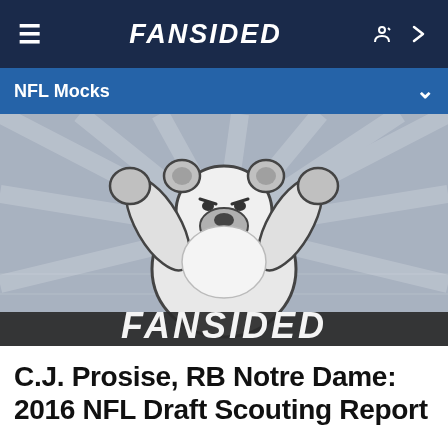FANSIDED
NFL Mocks
[Figure (illustration): Fansided mascot logo — a white bear with raised fists on grey stadium background, with FANSIDED text at bottom]
C.J. Prosise, RB Notre Dame: 2016 NFL Draft Scouting Report